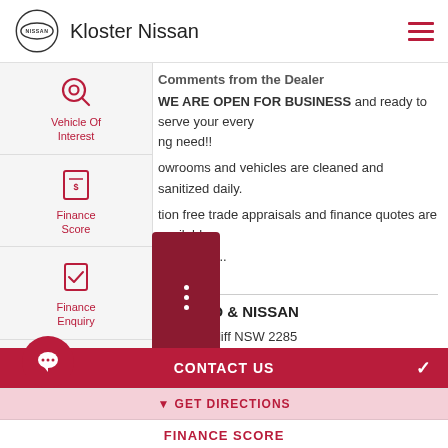Kloster Nissan
Comments from the Dealer
WE ARE OPEN FOR BUSINESS and ready to serve your every motoring need!! Our showrooms and vehicles are cleaned and sanitized daily. Obligation free trade appraisals and finance quotes are available over the phone!...
Read More
CARDIFF FORD & NISSAN
Road Cardiff NSW 2285
9900
Licence No. LMD2334
CONTACT US
GET DIRECTIONS
FINANCE SCORE